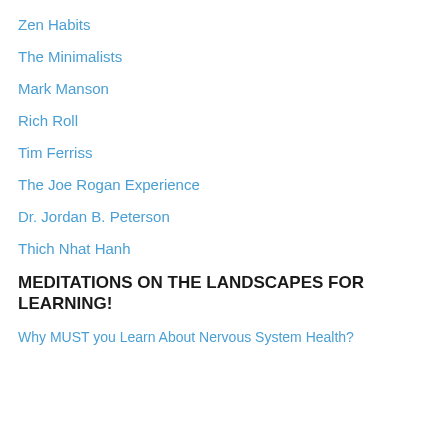Zen Habits
The Minimalists
Mark Manson
Rich Roll
Tim Ferriss
The Joe Rogan Experience
Dr. Jordan B. Peterson
Thich Nhat Hanh
MEDITATIONS ON THE LANDSCAPES FOR LEARNING!
Why MUST you Learn About Nervous System Health?